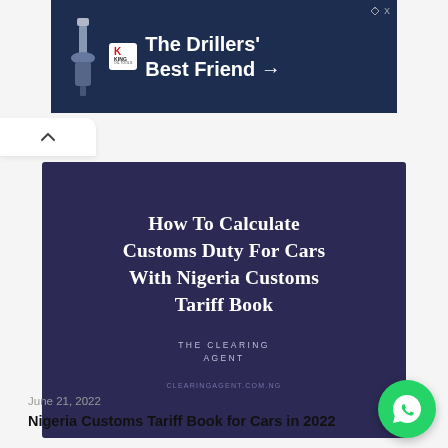[Figure (other): King Oil Tools advertisement banner with logo and text 'The Drillers' Best Friend →' on dark blue background]
[Figure (other): Article thumbnail image on dark navy/purple background with title 'How to calculate Customs Duty for Cars with Nigeria Customs Tariff Book', subtitle 'The Clearing Agent', and URL 'clearingagent.com.ng']
June 21, 2022
Nigeria Customs Tariff Book for Cars in 2022